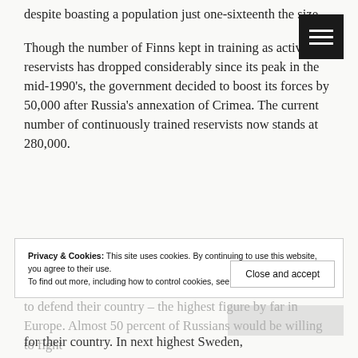despite boasting a population just one-sixteenth the size.
Though the number of Finns kept in training as active reservists has dropped considerably since its peak in the mid-1990's, the government decided to boost its forces by 50,000 after Russia's annexation of Crimea. The current number of continuously trained reservists now stands at 280,000.
Privacy & Cookies: This site uses cookies. By continuing to use this website, you agree to their use. To find out more, including how to control cookies, see here: Privacy Policy
74 percent of Finns said they'd be willing to take up arms to defend their country – the highest figure by far in Europe. Almost 50 percent of Russians would be willing to fight for their country. In next highest Sweden,